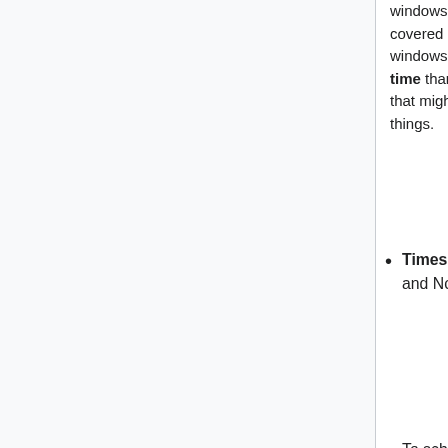windows. But, long running tasks and others things covered by Inclusion criteria do require their own windows. When creating windows, schedule more time than you think you need, to account for issues that might slow you down. One hour is best for most things.
Times are pinned to San Francisco, and thus the UTC time changes in March and November due to the DST.
To schedule a new recurring deploy window, or if you need help, contact Release Engineering on IRC at #wikimedia-releng connect; and ping Greg ( greg-g ) or Tyler ( thcipriani ).
Communicating: Deployments of new or major features should be